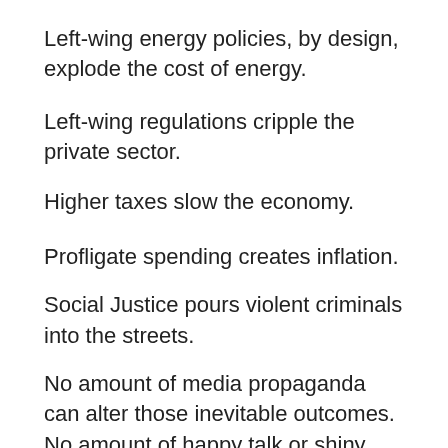Left-wing energy policies, by design, explode the cost of energy.
Left-wing regulations cripple the private sector.
Higher taxes slow the economy.
Profligate spending creates inflation.
Social Justice pours violent criminals into the streets.
No amount of media propaganda can alter those inevitable outcomes. No amount of happy talk or shiny distractions can alter the result of leftist policies that always end in misery, poverty, death,